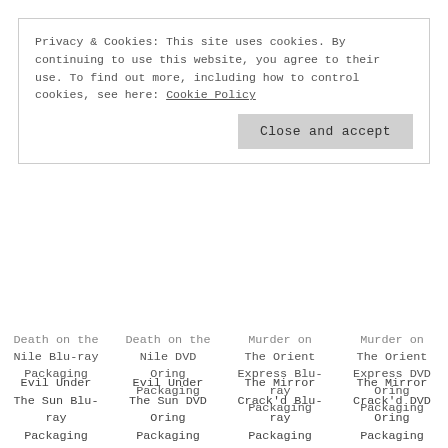Privacy & Cookies: This site uses cookies. By continuing to use this website, you agree to their use. To find out more, including how to control cookies, see here: Cookie Policy
Close and accept
Death on the Nile Blu-ray Packaging
Death on the Nile DVD Oring Packaging
Murder on The Orient Express Blu-ray Packaging
Murder on The Orient Express DVD Oring Packaging
Evil Under The Sun Blu-ray Packaging
Evil Under The Sun DVD Oring Packaging
The Mirror Crack'd Blu-ray Packaging
The Mirror Crack'd DVD Oring Packaging